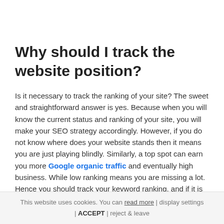Why should I track the website position?
Is it necessary to track the ranking of your site? The sweet and straightforward answer is yes. Because when you will know the current status and ranking of your site, you will make your SEO strategy accordingly. However, if you do not know where does your website stands then it means you are just playing blindly. Similarly, a top spot can earn you more Google organic traffic and eventually high business. While low ranking means you are missing a lot. Hence you should track your keyword ranking, and if it is low then your preference should be to be on Google's first page.
This website uses cookies. You can read more | display settings | ACCEPT | reject & leave